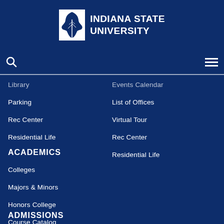[Figure (logo): Indiana State University logo — white maple leaf icon beside bold white text 'INDIANA STATE UNIVERSITY' on dark navy background]
Library
Events Calendar
Parking
List of Offices
Rec Center
Virtual Tour
Residential Life
Rec Center
Residential Life
ACADEMICS
Colleges
Majors & Minors
Honors College
Course Catalog
ADMISSIONS